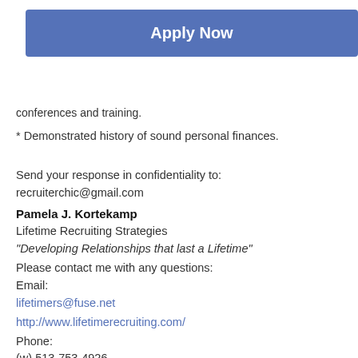Ability to effectively travel around the designated area.
Apply Now
conferences and training.
* Demonstrated history of sound personal finances.
Send your response in confidentiality to:
recruiterchic@gmail.com
Pamela J. Kortekamp
Lifetime Recruiting Strategies
"Developing Relationships that last a Lifetime"
Please contact me with any questions:
Email:
lifetimers@fuse.net
http://www.lifetimerecruiting.com/
Phone:
(w) 513-753-4926